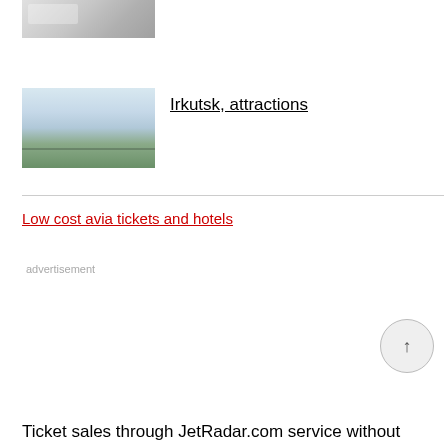[Figure (photo): Interior room or hotel photo, partially visible at top]
[Figure (photo): Landscape or lake scene photo for Irkutsk attractions]
Irkutsk, attractions
Low cost avia tickets and hotels
advertisement
Ticket sales through JetRadar.com service without